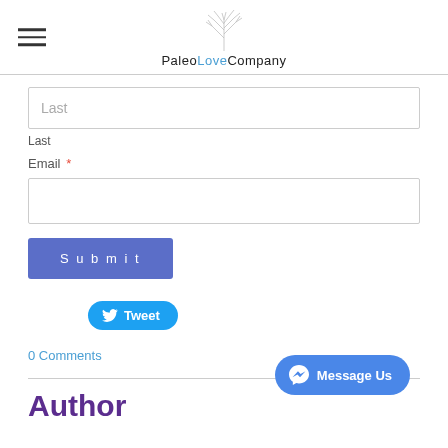PaleoLove Company
Last
Last
Email *
Submit
[Figure (other): Tweet button with Twitter bird icon]
0 Comments
Author
[Figure (other): Message Us button with Facebook Messenger icon]